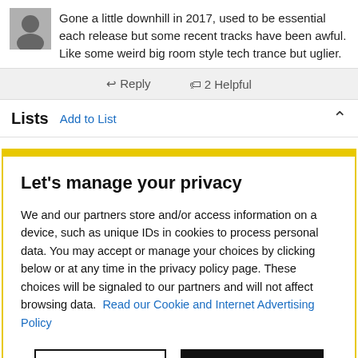Gone a little downhill in 2017, used to be essential each release but some recent tracks have been awful. Like some weird big room style tech trance but uglier.
↩ Reply   🏷 2 Helpful
Lists  Add to List
Let's manage your privacy
We and our partners store and/or access information on a device, such as unique IDs in cookies to process personal data. You may accept or manage your choices by clicking below or at any time in the privacy policy page. These choices will be signaled to our partners and will not affect browsing data.  Read our Cookie and Internet Advertising Policy
Cookies Settings   Accept All Cookies